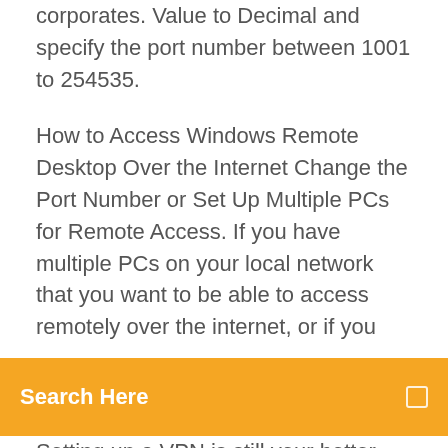corporates. Value to Decimal and specify the port number between 1001 to 254535.
How to Access Windows Remote Desktop Over the Internet Change the Port Number or Set Up Multiple PCs for Remote Access. If you have multiple PCs on your local network that you want to be able to access remotely over the internet, or if you
Search Here
Setting up a VPN is still your better rdp - What port should I open to allow remote desktop? - Server Remote Desktop requires TCP port 3389 to be open. It is possible to change the port used by the terminal server (or PC which is accessed), see this Microsoft support article: "How to change the listening port for Remote Desktop" Remote Desktop Connections - NETGEAR Communities The default for Remote Desktop Protocol would be 3389, but you might see fewer break-in attempts if you choose some other number, like, say, 5389 or 13389 (or almost